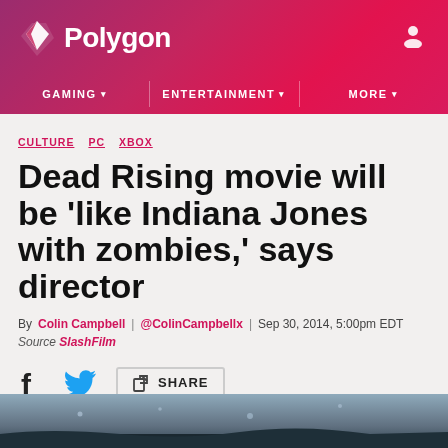Polygon — GAMING | ENTERTAINMENT | MORE
CULTURE  PC  XBOX
Dead Rising movie will be 'like Indiana Jones with zombies,' says director
By Colin Campbell | @ColinCampbellx | Sep 30, 2014, 5:00pm EDT
Source SlashFilm
f  [twitter]  [share] SHARE
[Figure (photo): Dark atmospheric scene, bottom of page]